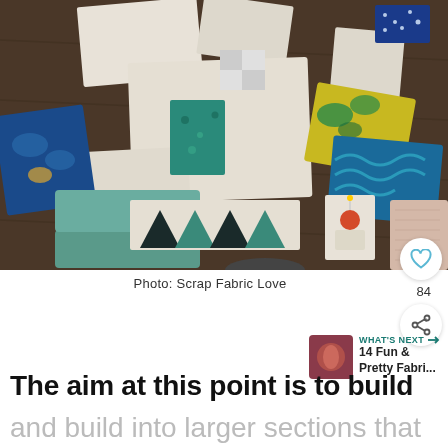[Figure (photo): Overhead view of quilting fabric pieces and scraps arranged on a dark wood floor, showing various patterned and solid fabrics in teal, blue, yellow, and white/cream colors]
Photo: Scrap Fabric Love
The aim at this point is to build
and build into larger sections that